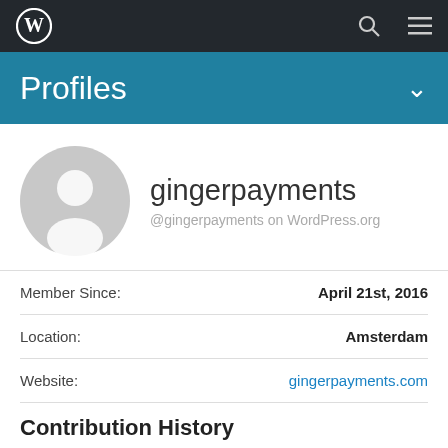WordPress navigation bar with WordPress logo, search icon, and menu icon
Profiles
[Figure (illustration): Generic WordPress user avatar - grey silhouette of a person in a circle]
gingerpayments
@gingerpayments on WordPress.org
| Field | Value |
| --- | --- |
| Member Since: | April 21st, 2016 |
| Location: | Amsterdam |
| Website: | gingerpayments.com |
Contribution History